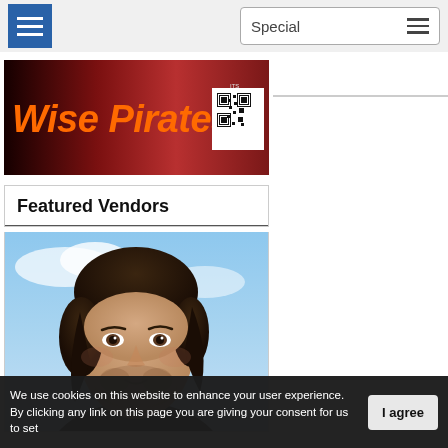Navigation bar with hamburger menu icon (blue) and Special dropdown with hamburger icon
[Figure (logo): Wise Pirates banner logo with orange italic text on dark red gradient background, with a QR code on the right]
Featured Vendors
[Figure (photo): Portrait photo of a young man with dark medium-length hair, slight beard, wearing a dark shirt, against a blue sky background]
We use cookies on this website to enhance your user experience. By clicking any link on this page you are giving your consent for us to set
I agree